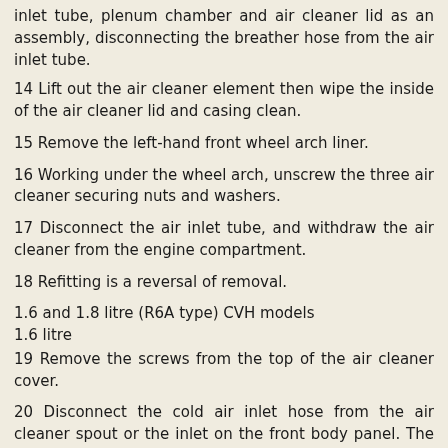inlet tube, plenum chamber and air cleaner lid as an assembly, disconnecting the breather hose from the air inlet tube.
14 Lift out the air cleaner element then wipe the inside of the air cleaner lid and casing clean.
15 Remove the left-hand front wheel arch liner.
16 Working under the wheel arch, unscrew the three air cleaner securing nuts and washers.
17 Disconnect the air inlet tube, and withdraw the air cleaner from the engine compartment.
18 Refitting is a reversal of removal.
1.6 and 1.8 litre (R6A type) CVH models
1.6 litre
19 Remove the screws from the top of the air cleaner cover.
20 Disconnect the cold air inlet hose from the air cleaner spout or the inlet on the front body panel. The hose is secured by toggle clips.
21 Disconnect the hot air inlet hose from the air cleaner spout or the hot air shroud on the exhaust manifold.
22 Where applicable, remove the screw securing the air cleaner